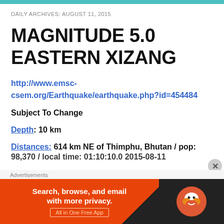DAILY ARCHIVES: AUGUST 11, 2015
MAGNITUDE 5.0 EASTERN XIZANG
http://www.emsc-csem.org/Earthquake/earthquake.php?id=454484
Subject To Change
Depth: 10 km
Distances: 614 km NE of Thimphu, Bhutan / pop:
[Figure (screenshot): DuckDuckGo advertisement banner: orange background on left with text 'Search, browse, and email with more privacy. All in One Free App', dark background on right with DuckDuckGo duck logo]